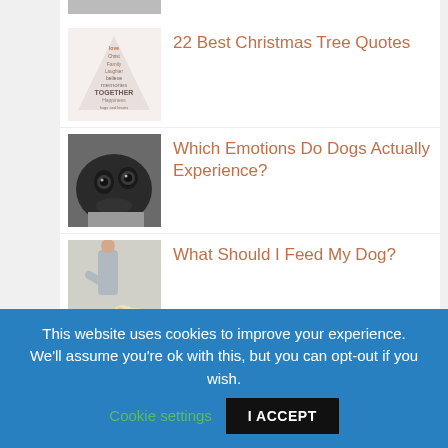[Figure (photo): Partial top image, cropped]
[Figure (illustration): Christmas tree made of words like love, family, laughter, believe, memories, together, happiness]
22 Best Christmas Tree Quotes
[Figure (photo): Close-up of a black dog lying down]
Which Emotions Do Dogs Actually Experience?
[Figure (photo): Person feeding a dog from a blue bowl]
What Should I Feed My Dog?
[Figure (photo): Red background with white text about family and Christmas]
Best Family Christmas Quotes
This website uses cookies to improve your experience. We'll assume you're ok with this, but you can opt-out if you wish.
Cookie settings
I ACCEPT